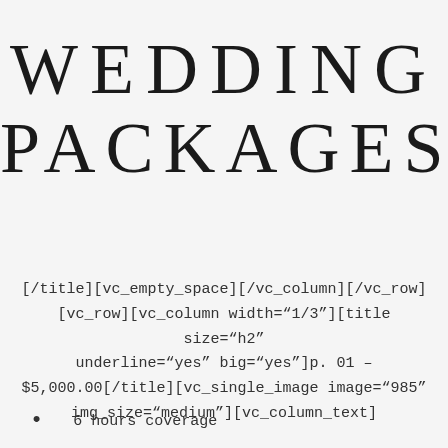WEDDING PACKAGES
[/title][vc_empty_space][/vc_column][/vc_row][vc_row][vc_column width="1/3"][title size="h2" underline="yes" big="yes"]p. 01 – $5,000.00[/title][vc_single_image image="985" img_size="medium"][vc_column_text]
6 hours coverage